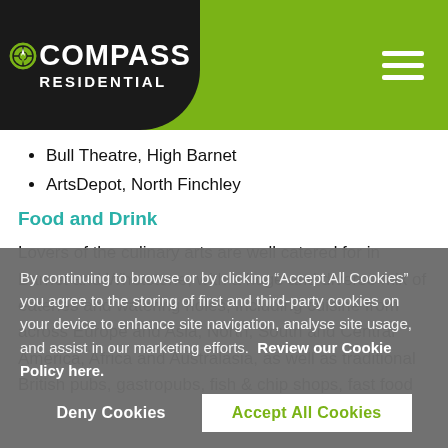COMPASS RESIDENTIAL
Bull Theatre, High Barnet
ArtsDepot, North Finchley
Food and Drink
Lovers of the culinary arts are well catered for in Barnet and Whetstone, with a huge and diverse mix of eateries and watering holes, including cuisine from across Europe and Asia, North, South and Central America, Africa and Australasia, as well as traditional British pubs, gastropubs, fish & chip shops, fast food
By continuing to browse or by clicking “Accept All Cookies” you agree to the storing of first and third-party cookies on your device to enhance site navigation, analyse site usage, and assist in our marketing efforts. Review our Cookie Policy here.